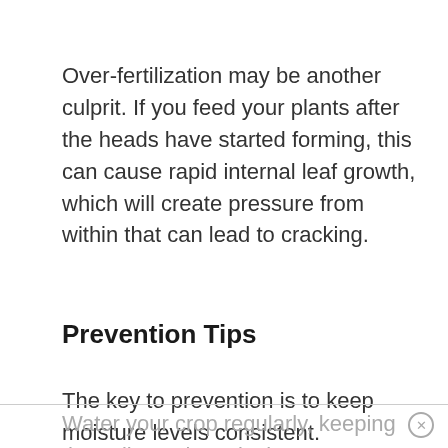Over-fertilization may be another culprit. If you feed your plants after the heads have started forming, this can cause rapid internal leaf growth, which will create pressure from within that can lead to cracking.
Prevention Tips
The key to prevention is to keep moisture levels consistent.
Water your crop regularly, keeping the soil evenly moist but not waterlogged.